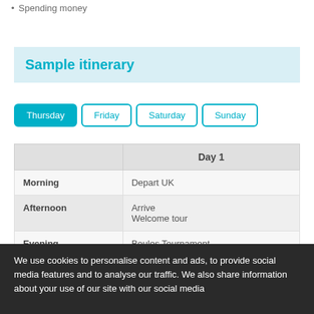Spending money
Sample itinerary
Thursday  Friday  Saturday  Sunday
|  | Day 1 |
| --- | --- |
| Morning | Depart UK |
| Afternoon | Arrive
Welcome tour |
| Evening | Boules Tournament |
We use cookies to personalise content and ads, to provide social media features and to analyse our traffic. We also share information about your use of our site with our social media